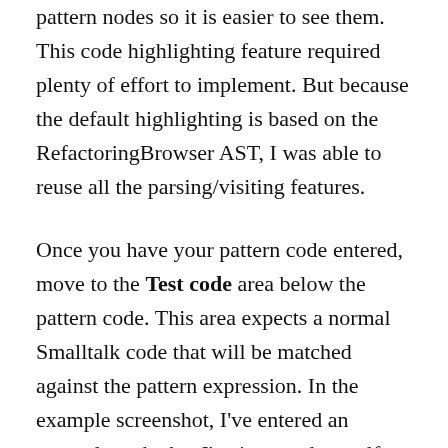pattern nodes so it is easier to see them. This code highlighting feature required plenty of effort to implement. But because the default highlighting is based on the RefactoringBrowser AST, I was able to reuse all the parsing/visiting features.
Once you have your pattern code entered, move to the Test code area below the pattern code. This area expects a normal Smalltalk code that will be matched against the pattern expression. In the example screenshot, I've entered an example code that I've invented myself, but you can simply copy a part of a real method. You can even paste there a complete method, just select the